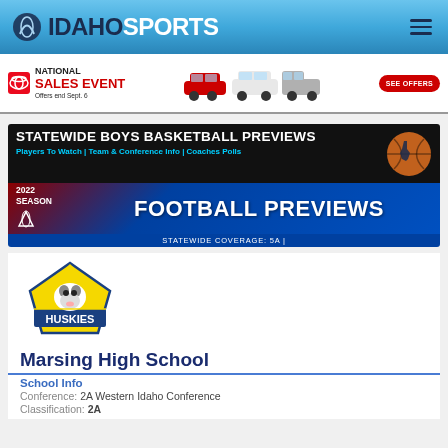IDAHO SPORTS
[Figure (advertisement): Toyota National Sales Event ad with cars. Offers end Sept. 6. SEE OFFERS button.]
[Figure (advertisement): Statewide Boys Basketball Previews banner. Players To Watch | Team & Conference Info | Coaches Polls. 2022 Season Football Previews. Statewide Coverage: 5A]
[Figure (logo): Marsing Huskies school logo with yellow and blue design]
Marsing High School
School Info
Conference: 2A Western Idaho Conference
Classification: 2A